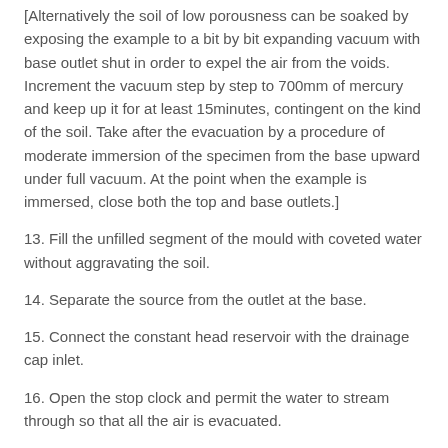[Alternatively the soil of low porousness can be soaked by exposing the example to a bit by bit expanding vacuum with base outlet shut in order to expel the air from the voids. Increment the vacuum step by step to 700mm of mercury and keep up it for at least 15minutes, contingent on the kind of the soil. Take after the evacuation by a procedure of moderate immersion of the specimen from the base upward under full vacuum. At the point when the example is immersed, close both the top and base outlets.]
13. Fill the unfilled segment of the mould with coveted water without aggravating the soil.
14. Separate the source from the outlet at the base.
15. Connect the constant head reservoir with the drainage cap inlet.
16. Open the stop clock and permit the water to stream through so that all the air is evacuated.
17. Close the stop-clock, and permit the water to move through the dirt till a stable state is achieved.